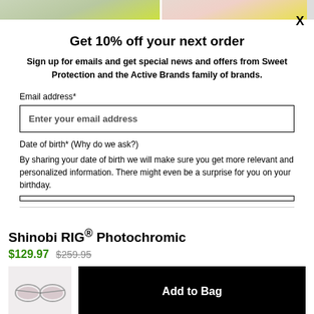[Figure (photo): Two product images at top of page showing sunglasses with yellow-green frames on left and pink/yellow on right]
Get 10% off your next order
Sign up for emails and get special news and offers from Sweet Protection and the Active Brands family of brands.
Email address*
Enter your email address
Date of birth* (Why do we ask?)
By sharing your date of birth we will make sure you get more relevant and personalized information. There might even be a surprise for you on your birthday.
Shinobi RIG® Photochromic
$129.97  $259.95
[Figure (photo): Shinobi RIG Photochromic sunglasses product thumbnail]
Add to Bag